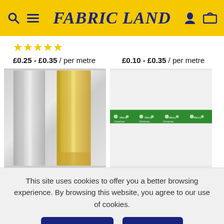FABRIC LAND
£0.25 - £0.35 / per metre    £0.10 - £0.35 / per metre
[Figure (photo): Two metallic glitter ribbons — one silver, one gold — laid flat on a white surface]
[Figure (photo): A green ribbon with white 'Merry Christmas' repeated text pattern on white background]
This site uses cookies to offer you a better browsing experience. By browsing this website, you agree to our use of cookies.
MORE INFO    ACCEPT